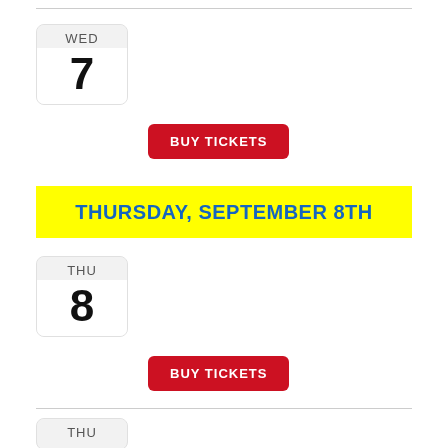[Figure (other): Calendar date box showing WED 7]
BUY TICKETS
THURSDAY, SEPTEMBER 8TH
[Figure (other): Calendar date box showing THU 8]
BUY TICKETS
[Figure (other): Calendar date box showing THU 8]
BUY TICKETS